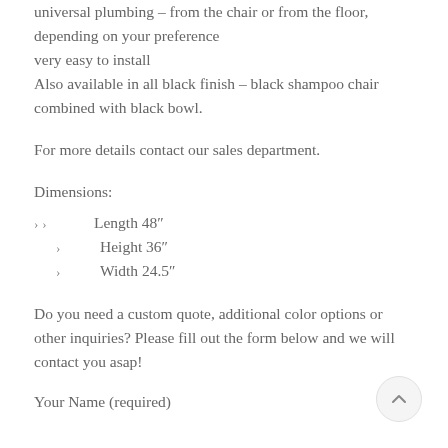universal plumbing – from the chair or from the floor, depending on your preference
very easy to install
Also available in all black finish – black shampoo chair combined with black bowl.
For more details contact our sales department.
Dimensions:
Length 48″
Height 36″
Width 24.5″
Do you need a custom quote, additional color options or other inquiries? Please fill out the form below and we will contact you asap!
Your Name (required)